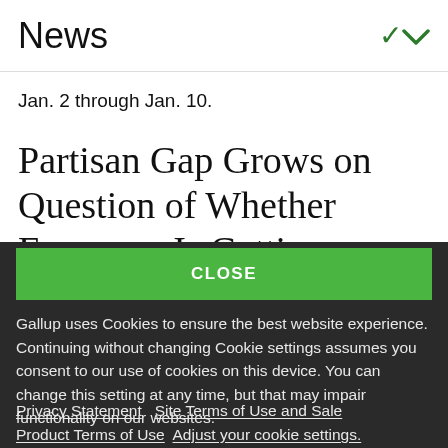News
Jan. 2 through Jan. 10.
Partisan Gap Grows on Question of Whether Economy Is Getting
CLOSE
Gallup uses Cookies to ensure the best website experience. Continuing without changing Cookie settings assumes you consent to our use of cookies on this device. You can change this setting at any time, but that may impair functionality on our websites.
Privacy Statement   Site Terms of Use and Sale
Product Terms of Use   Adjust your cookie settings.